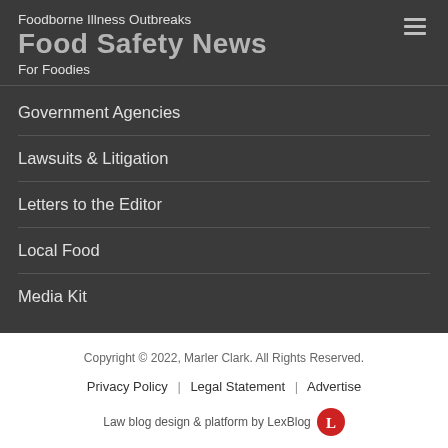Foodborne Illness Outbreaks
Food Safety News
For Foodies
Government Agencies
Lawsuits & Litigation
Letters to the Editor
Local Food
Media Kit
Copyright © 2022, Marler Clark. All Rights Reserved.
Privacy Policy | Legal Statement | Advertise
Law blog design & platform by LexBlog